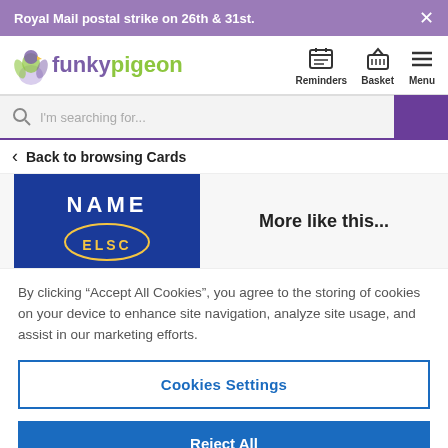Royal Mail postal strike on 26th & 31st.
[Figure (logo): Funky Pigeon logo with stylized pigeon icon]
Reminders  Basket  Menu
I'm searching for...
Back to browsing Cards
[Figure (photo): Chelsea FC personalised card product image showing blue background with NAME CHELSEA text]
More like this...
By clicking “Accept All Cookies”, you agree to the storing of cookies on your device to enhance site navigation, analyze site usage, and assist in our marketing efforts.
Cookies Settings
Reject All